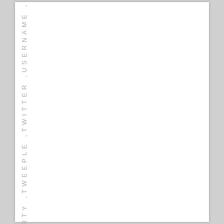RTY ,TWEEPLE ,TWITTER ,USERNAME ,